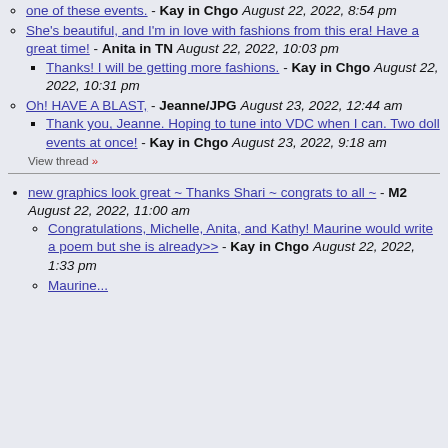one of these events. - Kay in Chgo August 22, 2022, 8:54 pm
She's beautiful, and I'm in love with fashions from this era! Have a great time! - Anita in TN August 22, 2022, 10:03 pm
Thanks! I will be getting more fashions. - Kay in Chgo August 22, 2022, 10:31 pm
Oh! HAVE A BLAST, - Jeanne/JPG August 23, 2022, 12:44 am
Thank you, Jeanne. Hoping to tune into VDC when I can. Two doll events at once! - Kay in Chgo August 23, 2022, 9:18 am
View thread »
new graphics look great ~ Thanks Shari ~ congrats to all ~ - M2 August 22, 2022, 11:00 am
Congratulations, Michelle, Anita, and Kathy! Maurine would write a poem but she is already>> - Kay in Chgo August 22, 2022, 1:33 pm
Maurine...